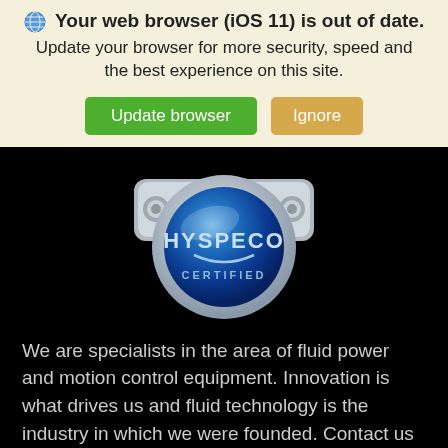🌐 Your web browser (iOS 11) is out of date. Update your browser for more security, speed and the best experience on this site.
[Figure (screenshot): Two buttons: green 'Update browser' and tan/gold 'Ignore']
[Figure (logo): HYSPECO CERTIFIED badge - metallic circular badge with blue gradient and chrome accents]
We are specialists in the area of fluid power and motion control equipment. Innovation is what drives us and fluid technology is the industry in which we were founded. Contact us for additional expertise.
Contact Us Today